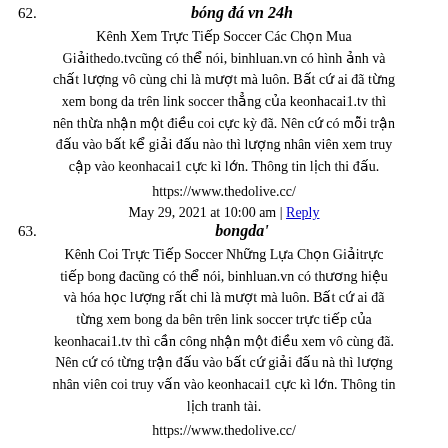62.
bóng đá vn 24h
Kênh Xem Trực Tiếp Soccer Các Chọn Mua Giảithedo.tvcũng có thể nói, binhluan.vn có hình ảnh và chất lượng vô cùng chi là mượt mà luôn. Bất cứ ai đã từng xem bong da trên link soccer thẳng của keonhacai1.tv thì nên thừa nhận một điều coi cực kỳ đã. Nên cứ có mỗi trận đấu vào bất kể giải đấu nào thì lượng nhân viên xem truy cập vào keonhacai1 cực kì lớn. Thông tin lịch thi đấu.
https://www.thedolive.cc/
May 29, 2021 at 10:00 am | Reply
63.
bongda'
Kênh Coi Trực Tiếp Soccer Những Lựa Chọn Giảitrực tiếp bong đacũng có thể nói, binhluan.vn có thương hiệu và hóa học lượng rất chi là mượt mà luôn. Bất cứ ai đã từng xem bong da bên trên link soccer trực tiếp của keonhacai1.tv thì cần công nhận một điều xem vô cùng đã. Nên cứ có từng trận đấu vào bất cứ giải đấu nà thì lượng nhân viên coi truy vấn vào keonhacai1 cực kì lớn. Thông tin lịch tranh tài.
https://www.thedolive.cc/